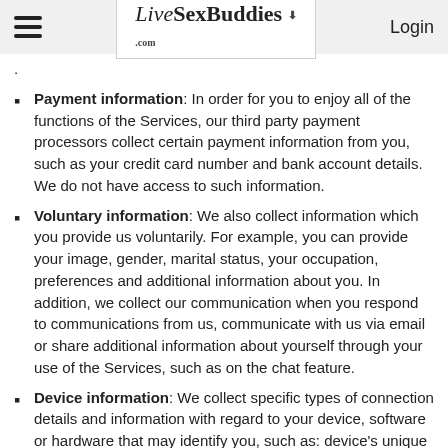LiveSexBuddies.com  Login
.
Payment information: In order for you to enjoy all of the functions of the Services, our third party payment processors collect certain payment information from you, such as your credit card number and bank account details. We do not have access to such information.
Voluntary information: We also collect information which you provide us voluntarily. For example, you can provide your image, gender, marital status, your occupation, preferences and additional information about you. In addition, we collect our communication when you respond to communications from us, communicate with us via email or share additional information about yourself through your use of the Services, such as on the chat feature.
Device information: We collect specific types of connection details and information with regard to your device, software or hardware that may identify you, such as: device's unique identifiers (e.g. UDID, IMEI, MAC address), browser fingerprinting, IP address and geo-location data.
Telephone calls: We record or monitor telephone calls for